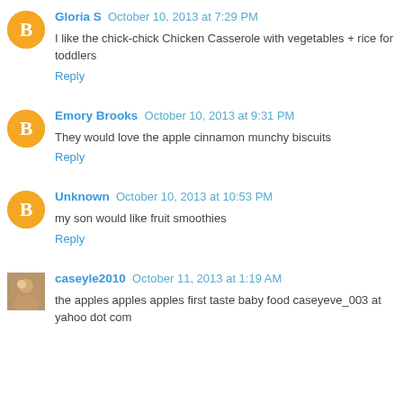Gloria S October 10, 2013 at 7:29 PM
I like the chick-chick Chicken Casserole with vegetables + rice for toddlers
Reply
Emory Brooks October 10, 2013 at 9:31 PM
They would love the apple cinnamon munchy biscuits
Reply
Unknown October 10, 2013 at 10:53 PM
my son would like fruit smoothies
Reply
caseyle2010 October 11, 2013 at 1:19 AM
the apples apples apples first taste baby food caseyeve_003 at yahoo dot com